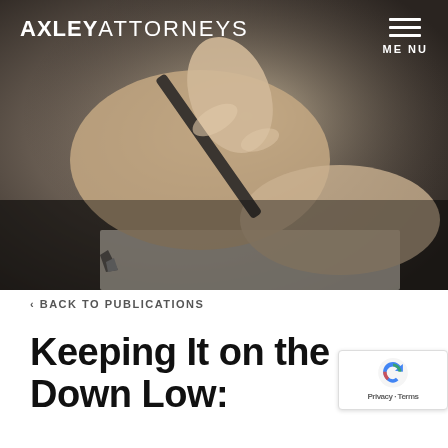[Figure (photo): Close-up photograph of a hand holding a fountain pen, writing on white paper. The image has a dark, moody tone with shallow depth of field.]
AXLEY ATTORNEYS — MENU
‹ BACK TO PUBLICATIONS
Keeping It on the Down Low: